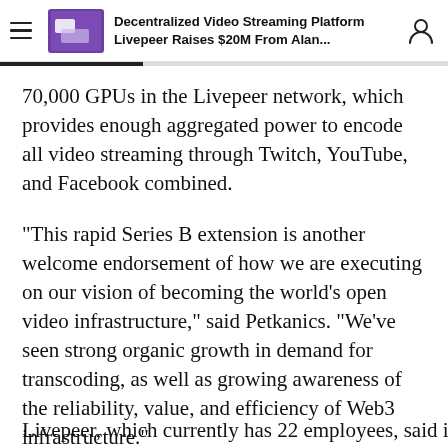Decentralized Video Streaming Platform Livepeer Raises $20M From Alan...
70,000 GPUs in the Livepeer network, which provides enough aggregated power to encode all video streaming through Twitch, YouTube, and Facebook combined.
"This rapid Series B extension is another welcome endorsement of how we are executing on our vision of becoming the world's open video infrastructure," said Petkanics. "We've seen strong organic growth in demand for transcoding, as well as growing awareness of the reliability, value, and efficiency of Web3 infrastructure."
Livepeer, which currently has 22 employees, said it